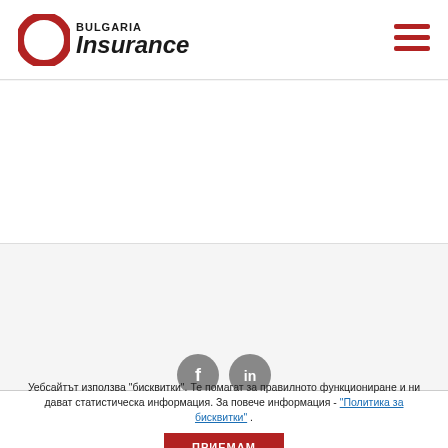BULGARIA Insurance
[Figure (logo): Bulgaria Insurance logo with red circle/ring icon and bold text 'BULGARIA Insurance']
[Figure (other): Hamburger menu icon (three red horizontal lines)]
[Figure (other): Social media icons: Facebook and LinkedIn circular grey icons]
Уебсайтът използва "бисквитки". Те помагат за правилното функциониране и ни дават статистическа информация. За повече информация - "Политика за бисквитки" .